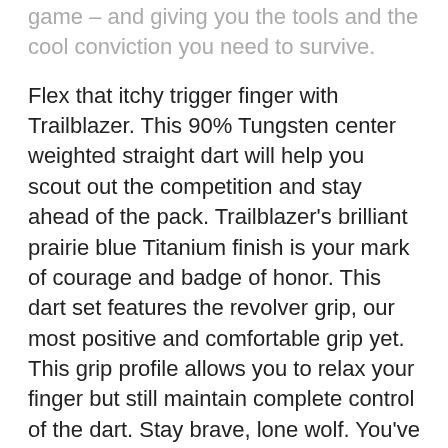This Frontier … [partial] … spoil in your golf game – and giving you the tools and the cool conviction you need to survive.
Flex that itchy trigger finger with Trailblazer. This 90% Tungsten center weighted straight dart will help you scout out the competition and stay ahead of the pack. Trailblazer's brilliant prairie blue Titanium finish is your mark of courage and badge of honor. This dart set features the revolver grip, our most positive and comfortable grip yet. This grip profile allows you to relax your finger but still maintain complete control of the dart. Stay brave, lone wolf. You've got the right barrel to get the job done.
Trailblazer's tightly ringed nose leads to a slim area of the dart's signature grip, axial milled to a planed area to reduce reflections. A simple ring sits between this and the dart's planed firing pin so that…